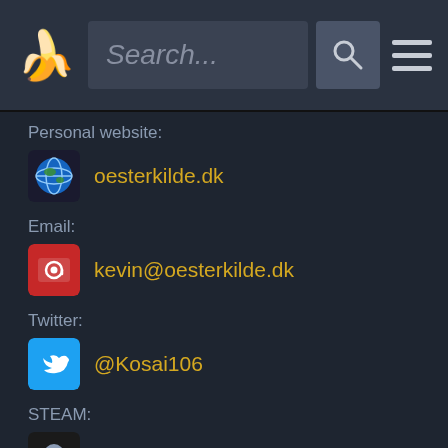[Figure (screenshot): Navigation bar with banana icon, search field with placeholder 'Search...', search button with magnifier icon, and hamburger menu icon]
Personal website:
oesterkilde.dk
Email:
kevin@oesterkilde.dk
Twitter:
@Kosai106
STEAM:
Kosai106
dribbble:
Kosai106
YouTube:
Kosai106
PlayStation Network:
Kosai106